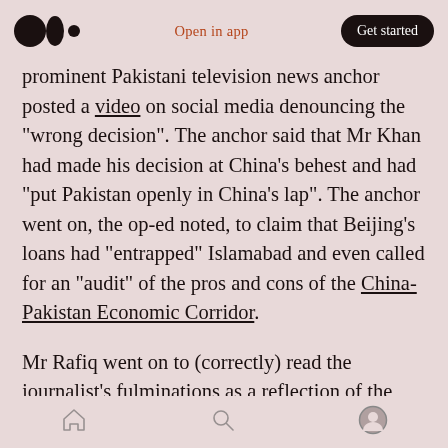Open in app | Get started
prominent Pakistani television news anchor posted a video on social media denouncing the “wrong decision”. The anchor said that Mr Khan had made his decision at China’s behest and had “put Pakistan openly in China’s lap”. The anchor went on, the op-ed noted, to claim that Beijing’s loans had “entrapped” Islamabad and even called for an “audit” of the pros and cons of the China-Pakistan Economic Corridor.
Mr Rafiq went on to (correctly) read the journalist’s fulminations as a reflection of the opinions prevailing among “the country’s khaki
home | search | profile